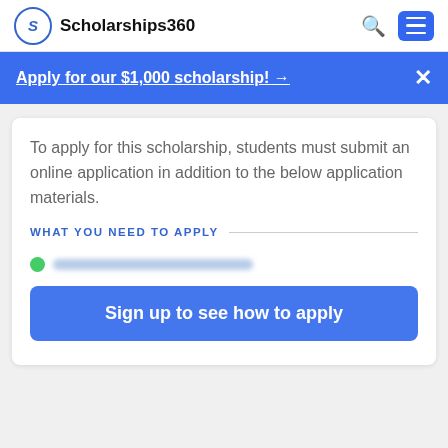Scholarships360
Apply for our $1,000 scholarship! →
To apply for this scholarship, students must submit an online application in addition to the below application materials.
WHAT YOU NEED TO APPLY
Sign up to see how to apply